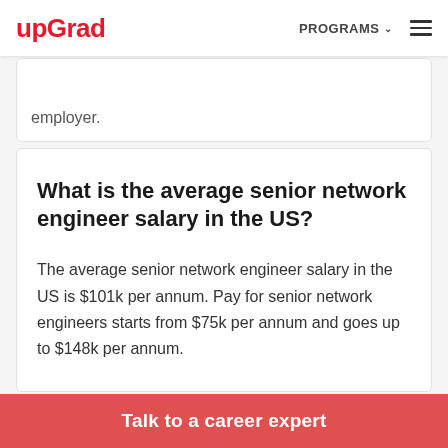upGrad   PROGRAMS ∨ ☰
employer.
What is the average senior network engineer salary in the US?
The average senior network engineer salary in the US is $101k per annum. Pay for senior network engineers starts from $75k per annum and goes up to $148k per annum.
Talk to a career expert